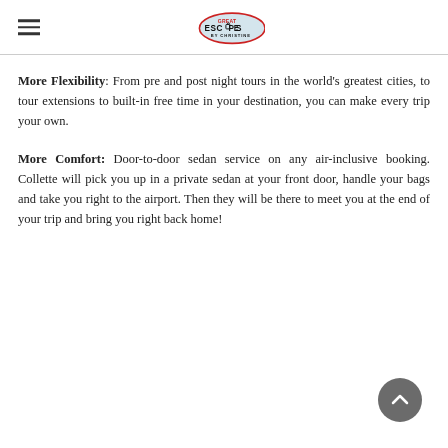Great Escapes by Christine (logo and hamburger menu)
More Flexibility: From pre and post night tours in the world's greatest cities, to tour extensions to built-in free time in your destination, you can make every trip your own.
More Comfort: Door-to-door sedan service on any air-inclusive booking. Collette will pick you up in a private sedan at your front door, handle your bags and take you right to the airport. Then they will be there to meet you at the end of your trip and bring you right back home!